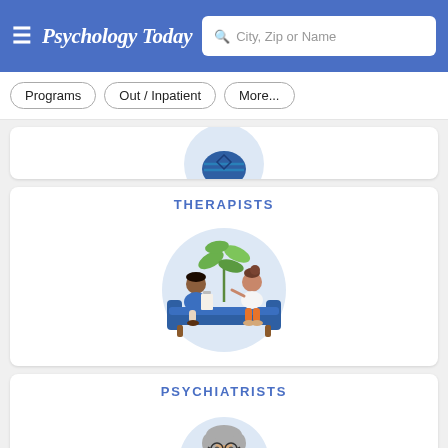Psychology Today — City, Zip or Name search
Programs
Out / Inpatient
More...
[Figure (illustration): Partially visible circular illustration showing a person/therapy scene — cropped at top of card]
[Figure (illustration): Circular illustration of two people (therapist and patient) sitting on a blue sofa with a plant in the background — therapy session scene. Labeled THERAPISTS.]
THERAPISTS
[Figure (illustration): Circular illustration of an older man with glasses and grey hair wearing a green sweater — psychiatrist. Labeled PSYCHIATRISTS.]
PSYCHIATRISTS